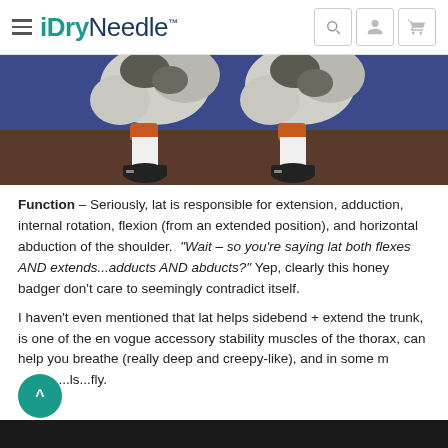iDryNeedle
[Figure (photo): Close-up photo of two pairs of legs (likely cats or small animals) wearing white knee-high socks and black shoes, standing on a dark surface against a blue background.]
Function – Seriously, lat is responsible for extension, adduction, internal rotation, flexion (from an extended position), and horizontal abduction of the shoulder. "Wait – so you're saying lat both flexes AND extends...adducts AND abducts?" Yep, clearly this honey badger don't care to seemingly contradict itself.
I haven't even mentioned that lat helps sidebend + extend the trunk, is one of the en vogue accessory stability muscles of the thorax, can help you breathe (really deep and creepy-like), and in some m...ls...fly.